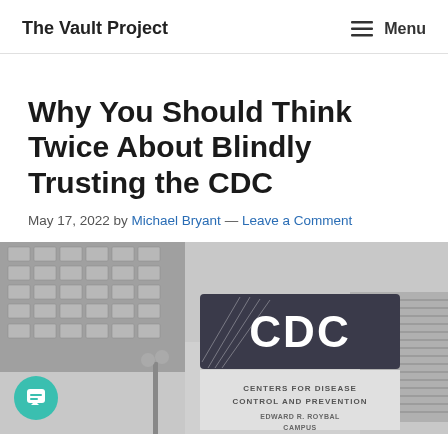The Vault Project   ☰ Menu
Why You Should Think Twice About Blindly Trusting the CDC
May 17, 2022 by Michael Bryant — Leave a Comment
[Figure (photo): Black and white photo of the CDC (Centers for Disease Control and Prevention) headquarters building exterior, featuring the CDC logo sign and text reading 'Centers for Disease Control and Prevention' and 'Edward R. Roybal Campus']